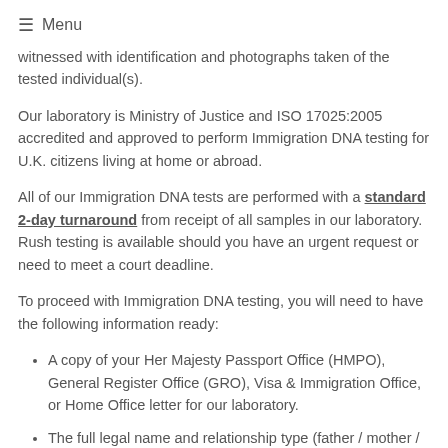≡  Menu
witnessed with identification and photographs taken of the tested individual(s).
Our laboratory is Ministry of Justice and ISO 17025:2005 accredited and approved to perform Immigration DNA testing for U.K. citizens living at home or abroad.
All of our Immigration DNA tests are performed with a standard 2-day turnaround from receipt of all samples in our laboratory. Rush testing is available should you have an urgent request or need to meet a court deadline.
To proceed with Immigration DNA testing, you will need to have the following information ready:
A copy of your Her Majesty Passport Office (HMPO), General Register Office (GRO), Visa & Immigration Office, or Home Office letter for our laboratory.
The full legal name and relationship type (father / mother / son /